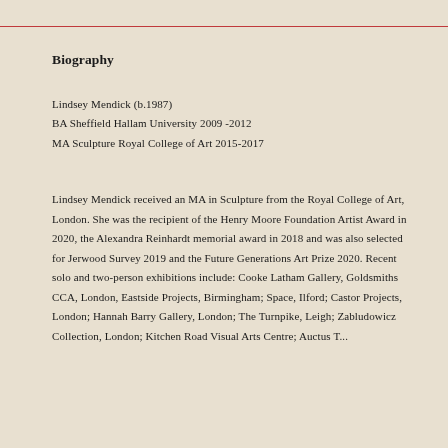Biography
Lindsey Mendick (b.1987)
BA Sheffield Hallam University 2009 -2012
MA Sculpture Royal College of Art 2015-2017
Lindsey Mendick received an MA in Sculpture from the Royal College of Art, London. She was the recipient of the Henry Moore Foundation Artist Award in 2020, the Alexandra Reinhardt memorial award in 2018 and was also selected for Jerwood Survey 2019 and the Future Generations Art Prize 2020. Recent solo and two-person exhibitions include: Cooke Latham Gallery, Goldsmiths CCA, London, Eastside Projects, Birmingham; Space, Ilford; Castor Projects, London; Hannah Barry Gallery, London; The Turnpike, Leigh; Zabludowicz Collection, London; Kitchen Road Visual Arts Centre; Auctus T...